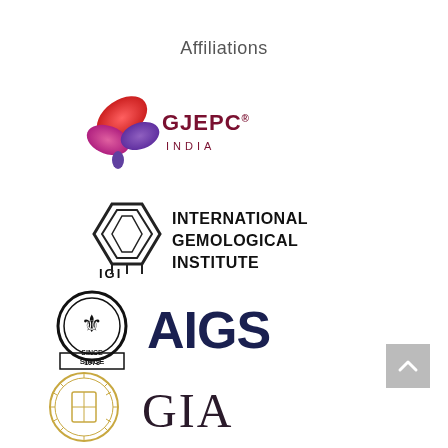Affiliations
[Figure (logo): GJEPC India logo — colorful butterfly/flower shape in red, pink, purple with a water drop, beside text GJEPC INDIA in dark red]
[Figure (logo): International Gemological Institute logo — diamond shape outline with IGI letters below, beside bold text INTERNATIONAL GEMOLOGICAL INSTITUTE]
[Figure (logo): AIGS logo — circular emblem with figure inside and SINCE 1978 below, beside large bold dark blue AIGS text]
[Figure (logo): GIA logo — circular gold seal with shield and cross inside, beside large GIA text in dark serif font]